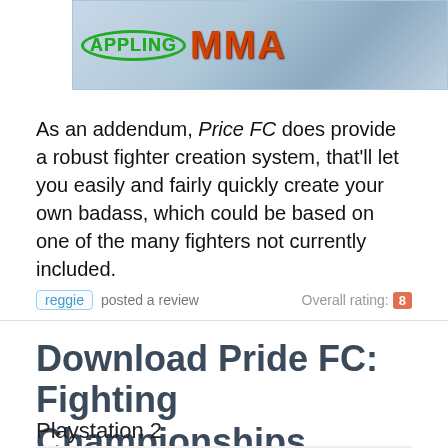[Figure (photo): Top portion of a video game review page showing grappling/MMA logo image with green circular grappling text and orange MMA fire letters on a light blue background]
As an addendum, Price FC does provide a robust fighter creation system, that'll let you easily and fairly quickly create your own badass, which could be based on one of the many fighters not currently included.
reggie posted a review  Overall rating: 8
Download Pride FC: Fighting Championships
Playstation 2
[Figure (logo): Bottom portion of Pride FC Fighting Championships logo, red lightning bolt/checkmark on white/grey background]